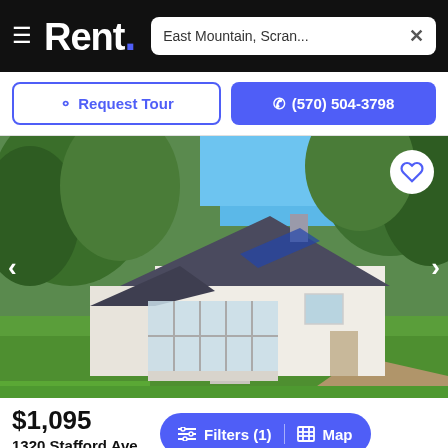Rent. — East Mountain, Scran... ×
Request Tour
(570) 504-3798
[Figure (photo): Aerial view of a small white cottage/house with dark grey roof, large glass sunroom on front, surrounded by green trees and grass lawn. Blue sky in background.]
$1,095
1320 Stafford Ave
Filters (1)
Map